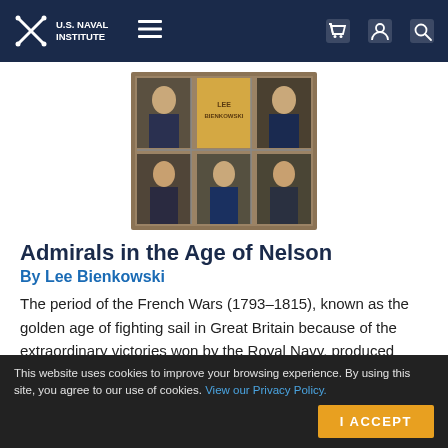U.S. Naval Institute
[Figure (photo): Book cover of 'Admirals in the Age of Nelson' by Lee Bienkowski, showing a grid of six portrait paintings of historical admirals in military uniform against a golden/tan background.]
Admirals in the Age of Nelson
By Lee Bienkowski
The period of the French Wars (1793–1815), known as the golden age of fighting sail in Great Britain because of the extraordinary victories won by the Royal Navy, produced
This website uses cookies to improve your browsing experience. By using this site, you agree to our use of cookies. View our Privacy Policy.